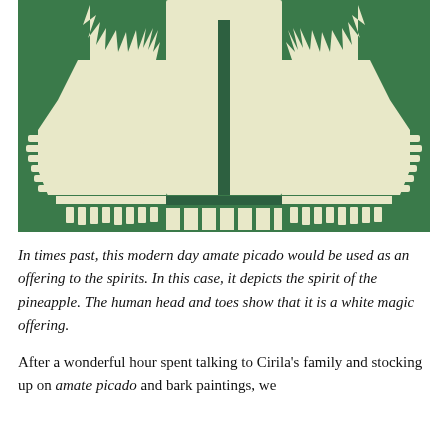[Figure (illustration): A green and cream-colored amate picado (cut paper) artwork depicting the spirit of the pineapple. The symmetrical design shows two bird-like figures with pineapple/flower heads, wings spread outward, and striped feet, set against a green background with a large cream central rectangle.]
In times past, this modern day amate picado would be used as an offering to the spirits. In this case, it depicts the spirit of the pineapple. The human head and toes show that it is a white magic offering.
After a wonderful hour spent talking to Cirila's family and stocking up on amate picado and bark paintings, we